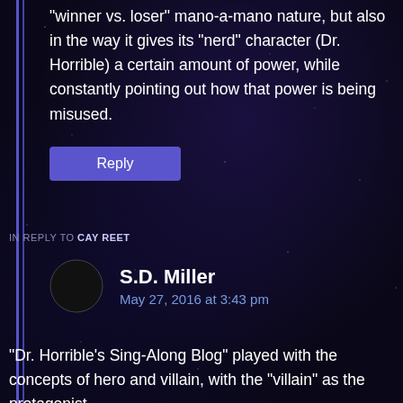“winner vs. loser” mano-a-mano nature, but also in the way it gives its “nerd” character (Dr. Horrible) a certain amount of power, while constantly pointing out how that power is being misused.
Reply
IN REPLY TO CAY REET
[Figure (illustration): Crescent moon avatar icon in black and white]
S.D. Miller
May 27, 2016 at 3:43 pm
“Dr. Horrible’s Sing-Along Blog” played with the concepts of hero and villain, with the “villain” as the protagonist.